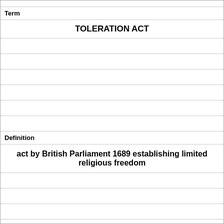Term
TOLERATION ACT
Definition
act by British Parliament 1689 establishing limited religious freedom